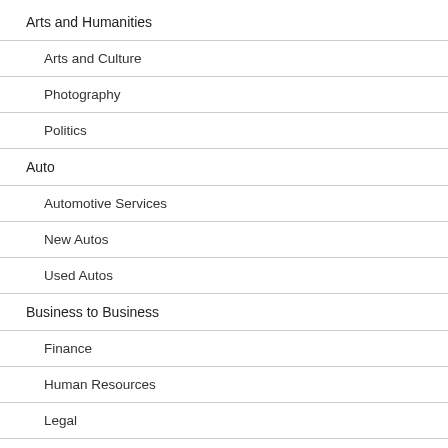Arts and Humanities
Arts and Culture
Photography
Politics
Auto
Automotive Services
New Autos
Used Autos
Business to Business
Finance
Human Resources
Legal
Career